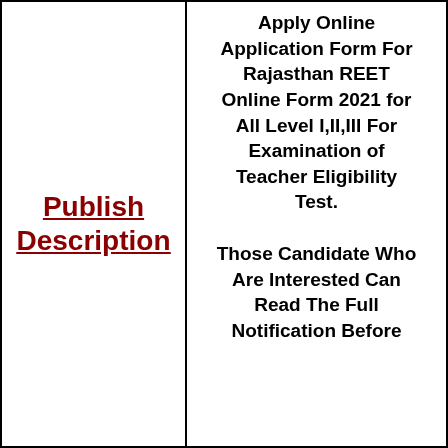Publish Description
Apply Online Application Form For Rajasthan REET Online Form 2021 for All Level I,II,III For Examination of Teacher Eligibility Test.
Those Candidate Who Are Interested Can Read The Full Notification Before